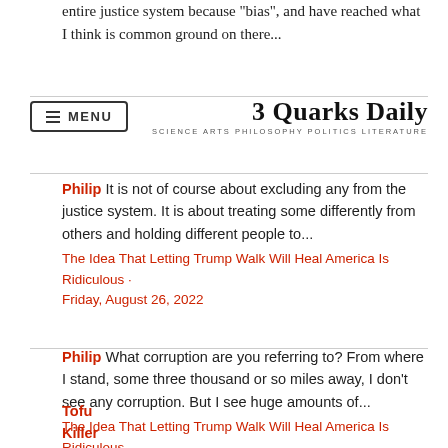entire justice system because "bias", and have reached what I think is common ground on there...
3 Quarks Daily — SCIENCE ARTS PHILOSOPHY POLITICS LITERATURE
Philip It is not of course about excluding any from the justice system. It is about treating some differently from others and holding different people to...
The Idea That Letting Trump Walk Will Heal America Is Ridiculous · Friday, August 26, 2022
Philip What corruption are you referring to? From where I stand, some three thousand or so miles away, I don't see any corruption. But I see huge amounts of...
The Idea That Letting Trump Walk Will Heal America Is Ridiculous · Friday, August 26, 2022
Tofu Killer So your objection now is th... judiciary from the executive functions... imply that Iron...
[Figure (screenshot): Video overlay thumbnail showing an animal (possibly an otter or similar creature) with a play button, overlaid on the page content. A close (X) button is visible in the top right of the overlay.]